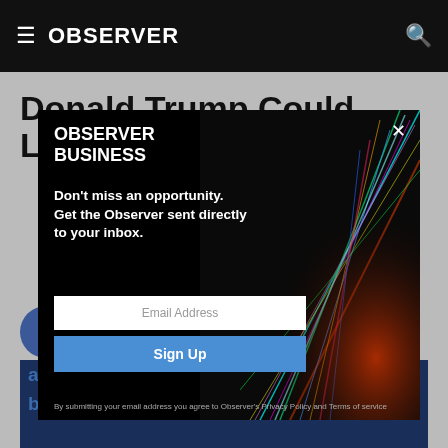OBSERVER
Donald Trump Could Leave NYC $7 Billion
[Figure (screenshot): Modal popup for Observer Business newsletter signup. Black background with colorful light streaks on right side. Left side shows 'OBSERVER BUSINESS' heading, tagline 'Don't miss an opportunity. Get the Observer sent directly to your inbox.', an Email Address input field, a blue Sign Up button, and a disclaimer about privacy policy.]
[Figure (photo): Photo of a person at a podium with repeating 'abny' logo text visible in background, in blue tones.]